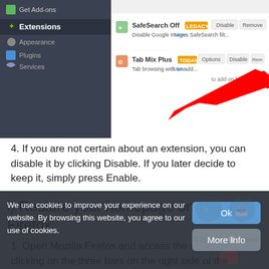[Figure (screenshot): Screenshot of a browser extension manager showing SafeSearch Off (LEGACY) and Tab Mix Plus (TODAY) extensions with Options, Disable, and Remove buttons. A red arrow points to the Remove button for Tab Mix Plus.]
4. If you are not certain about an extension, you can disable it by clicking Disable. If you later decide to keep it, simply press Enable.
i) Restore your homepage on Mozilla Firefox
1. Open Mozilla Firefox and access the menu by clicking on the three bars on the right side of the screen.
2. Select Options.
We use cookies to improve your experience on our website. By browsing this website, you agree to our use of cookies.